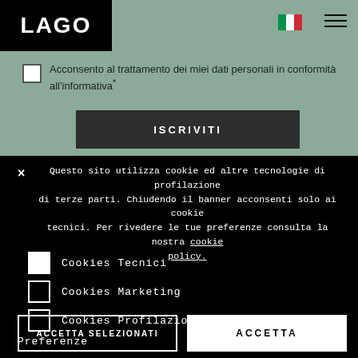LAGO
Acconsento al trattamento dei miei dati personali in conformità all'informativa*
ISCRIVITI
Questo sito utilizza cookie ed altre tecnologie di profilazione di terze parti. Chiudendo il banner acconsenti solo ai cookie tecnici. Per rivedere le tue preferenze consulta la nostra cookie policy.
Cookies Tecnici
Cookies Marketing
Cookies Profilazione
ACCETTA SELEZIONATI
ACCETTA
Preferenze